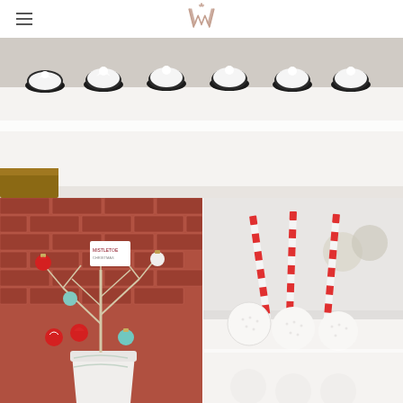W logo and hamburger menu
[Figure (photo): Top-down view of black and white frosted cupcakes arranged on a white counter or shelf, with a wooden edge visible at the bottom left.]
[Figure (photo): Close-up of a white bucket/vase with bare white branches decorated with colorful Christmas ornaments (red, aqua, white), set against a red brick wall background. A small tag card is visible among the branches.]
[Figure (photo): White cake pops or marshmallow treats with red and white striped candy cane sticks, arranged on a white tray or surface.]